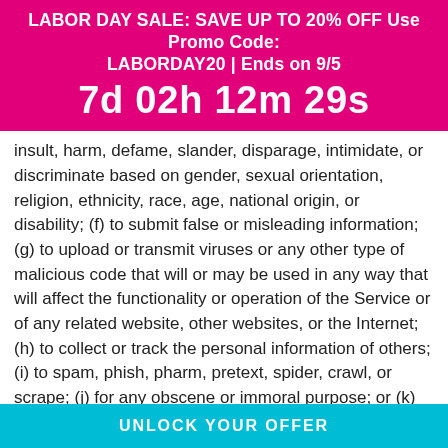LABOR DAY SALE: SAVE UP TO 20% OFF Use Promo Code: LABORDAY20 | Ends on 9/5
7d 02h 12m 29s
insult, harm, defame, slander, disparage, intimidate, or discriminate based on gender, sexual orientation, religion, ethnicity, race, age, national origin, or disability; (f) to submit false or misleading information; (g) to upload or transmit viruses or any other type of malicious code that will or may be used in any way that will affect the functionality or operation of the Service or of any related website, other websites, or the Internet; (h) to collect or track the personal information of others; (i) to spam, phish, pharm, pretext, spider, crawl, or scrape; (j) for any obscene or immoral purpose; or (k) to interfere with or circumvent the security features of the Service or any related website, other websites, or the Internet. We
UNLOCK YOUR OFFER